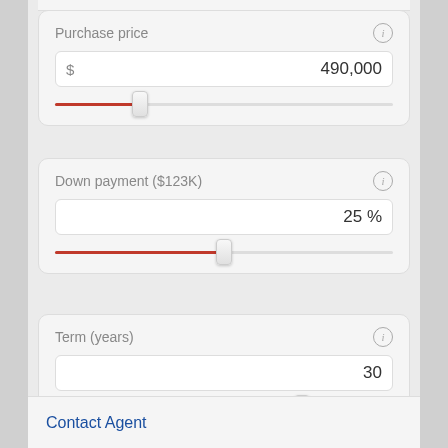[Figure (screenshot): Mortgage calculator UI showing Purchase price input ($490,000) with slider at ~25% position]
[Figure (screenshot): Down payment input (25%) with slider at ~50% position]
[Figure (screenshot): Term (years) input (30) with slider at ~75% position]
[Figure (screenshot): Interest rate section partially visible at bottom]
Contact Agent